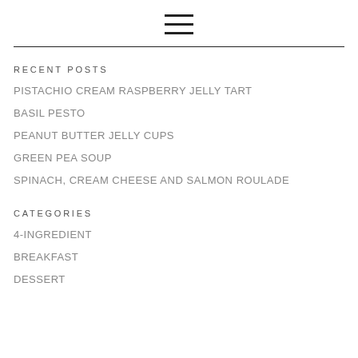[Figure (other): Hamburger menu icon (three horizontal lines)]
RECENT POSTS
PISTACHIO CREAM RASPBERRY JELLY TART
BASIL PESTO
PEANUT BUTTER JELLY CUPS
GREEN PEA SOUP
SPINACH, CREAM CHEESE AND SALMON ROULADE
CATEGORIES
4-INGREDIENT
BREAKFAST
DESSERT